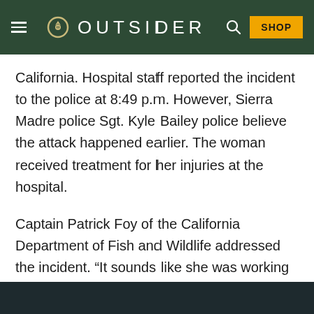OUTSIDER
California. Hospital staff reported the incident to the police at 8:49 p.m. However, Sierra Madre police Sgt. Kyle Bailey police believe the attack happened earlier. The woman received treatment for her injuries at the hospital.
Captain Patrick Foy of the California Department of Fish and Wildlife addressed the incident. “It sounds like she was working on a laptop and fell asleep,” Foy said, according to Mercury News.